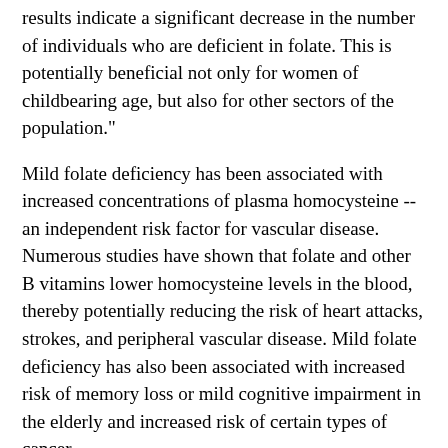results indicate a significant decrease in the number of individuals who are deficient in folate. This is potentially beneficial not only for women of childbearing age, but also for other sectors of the population."
Mild folate deficiency has been associated with increased concentrations of plasma homocysteine -- an independent risk factor for vascular disease. Numerous studies have shown that folate and other B vitamins lower homocysteine levels in the blood, thereby potentially reducing the risk of heart attacks, strokes, and peripheral vascular disease. Mild folate deficiency has also been associated with increased risk of memory loss or mild cognitive impairment in the elderly and increased risk of certain types of cancer.
Signs of folate deficiency may include headaches, forgetfulness, loss of appetite, diarrhea, weight loss, weakness, sore tongue, heart palpitations, and irritability. If